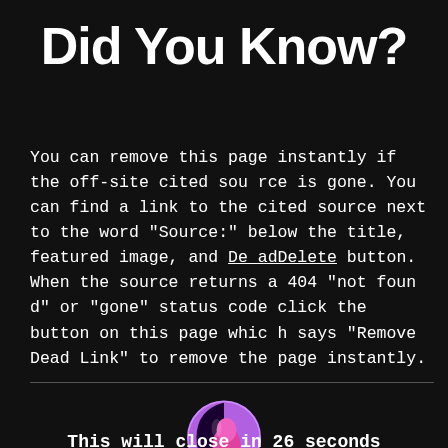Did You Know?
You can remove this page instantly if the off-site cited source is gone. You can find a link to the cited source next to the word "Source:" below the title, featured image, and DeadDelete button. When the source returns a 404 "not found" or "gone" status code click the button on this page which says "Remove Dead Link" to remove the page instantly.
[Figure (logo): Circular logo with pink and purple tones, showing a stylized bird or figure silhouette]
This will close in 26 seconds